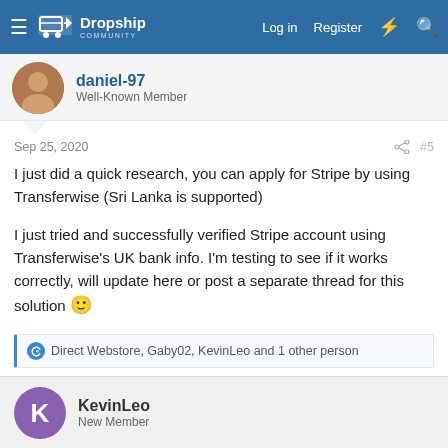Dropship Community — Log in | Register
daniel-97
Well-Known Member
Sep 25, 2020  #5
I just did a quick research, you can apply for Stripe by using Transferwise (Sri Lanka is supported)

I just tried and successfully verified Stripe account using Transferwise's UK bank info. I'm testing to see if it works correctly, will update here or post a separate thread for this solution 🙂
Direct Webstore, Gaby02, KevinLeo and 1 other person
KevinLeo
New Member